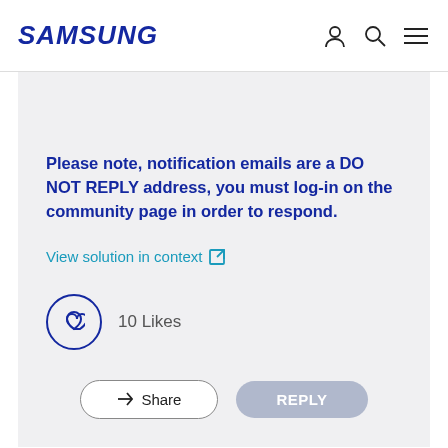SAMSUNG
Please note, notification emails are a DO NOT REPLY address, you must log-in on the community page in order to respond.
View solution in context
10 Likes
Share
REPLY